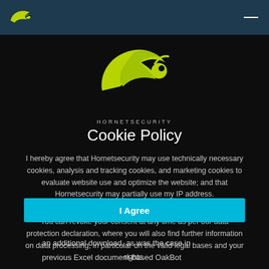[Figure (logo): Hornetsecurity logo — stylized yellow-green wasp/bird shape]
HORNETSECURITY
Cookie Policy
I hereby agree that Hornetsecurity may use technically necessary cookies, analysis and tracking cookies, and marketing cookies to evaluate website use and optimize the website; and that Hornetsecurity may partially use my IP address.
You can revoke your consent at any time as per our data protection declaration, where you will also find further information on data processing, in particular on the valid legal bases and your rights.
I Agree
an additional download, as was the case in previous Excel document-based OakBot